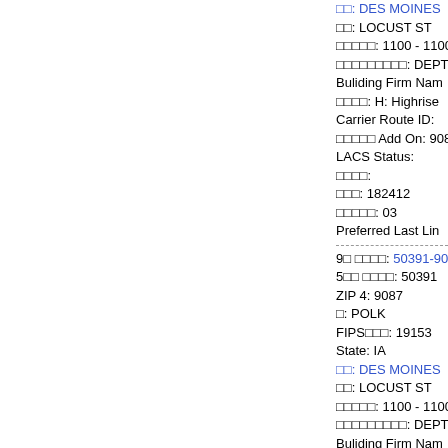city: DES MOINES
street: LOCUST ST
range: 1100 - 1100
secondary: DEPT 90
Buliding Firm Name
type: H: Highrise
Carrier Route ID:
addon Add On: 908
LACS Status:
dpv:
rec: 182412
count: 03
Preferred Last Line
9digit zipcode: 50391-90
5digit zipcode: 50391
ZIP 4: 9087
county: POLK
FIPScode: 19153
State: IA
city: DES MOINES
street: LOCUST ST
range: 1100 - 1100
secondary: DEPT 90
Buliding Firm Name
type: H: Highrise